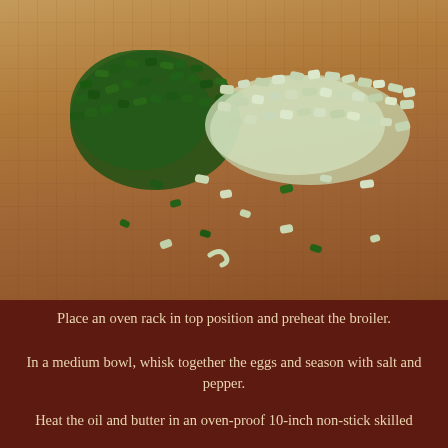[Figure (photo): Chopped green onions (scallions) scattered on a wooden cutting board. The green parts are on the left and the white/light green parts are on the right. A few scattered pieces are spread across the board.]
Place an oven rack in top position and preheat the broiler.
In a medium bowl, whisk together the eggs and season with salt and pepper.
Heat the oil and butter in an oven-proof 10-inch non-stick skilled